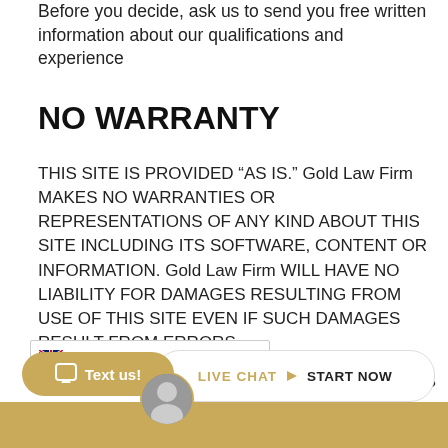Before you decide, ask us to send you free written information about our qualifications and experience
NO WARRANTY
THIS SITE IS PROVIDED “AS IS.” Gold Law Firm MAKES NO WARRANTIES OR REPRESENTATIONS OF ANY KIND ABOUT THIS SITE INCLUDING ITS SOFTWARE, CONTENT OR INFORMATION. Gold Law Firm WILL HAVE NO LIABILITY FOR DAMAGES RESULTING FROM USE OF THIS SITE EVEN IF SUCH DAMAGES RESULT FROM ERRORS, DELIBERATE ACTS OF Gold Law Firm. DOES NOT WARRANT
[Figure (screenshot): Language selector dropdown showing English with UK flag]
[Figure (screenshot): Text us button (gold rounded pill), Live Chat Start Now button (white rounded pill), gold footer bar with avatar]